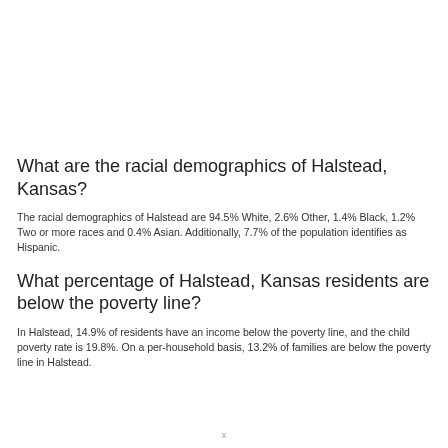What are the racial demographics of Halstead, Kansas?
The racial demographics of Halstead are 94.5% White, 2.6% Other, 1.4% Black, 1.2% Two or more races and 0.4% Asian. Additionally, 7.7% of the population identifies as Hispanic.
What percentage of Halstead, Kansas residents are below the poverty line?
In Halstead, 14.9% of residents have an income below the poverty line, and the child poverty rate is 19.8%. On a per-household basis, 13.2% of families are below the poverty line in Halstead.